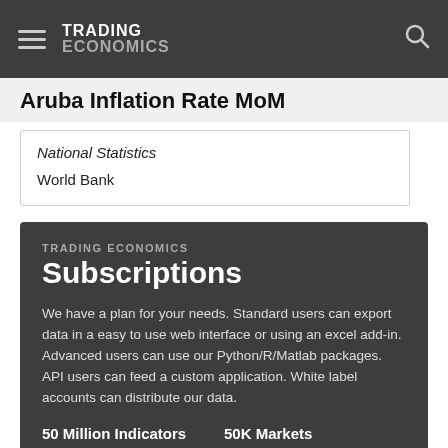TRADING ECONOMICS
Aruba Inflation Rate MoM
National Statistics
World Bank
TRADING ECONOMICS
Subscriptions
We have a plan for your needs. Standard users can export data in a easy to use web interface or using an excel add-in. Advanced users can use our Python/R/Matlab packages. API users can feed a custom application. White label accounts can distribute our data.
50 Million Indicators   50K Markets